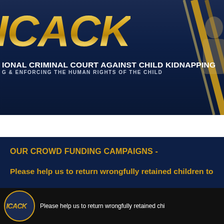[Figure (logo): ICACK organization logo — dark navy background with large gold italic ICACK letters, decorative gold diagonal lines at right, and organization full name below]
INTERNATIONAL CRIMINAL COURT AGAINST CHILD KIDNAPPING
PROTECTING & ENFORCING THE HUMAN RIGHTS OF THE CHILD
[Figure (screenshot): Website navigation bar with white background and gold borders containing menu items: HOME | ABOUT US | HOW WE WORK | GET INVOLVED | ENFORCING L...]
OUR CROWD FUNDING CAMPAIGNS -
Please help us to return wrongfully retained children to
[Figure (screenshot): Video player bar showing ICACK logo and text: Please help us to return wrongfully retained chi...]